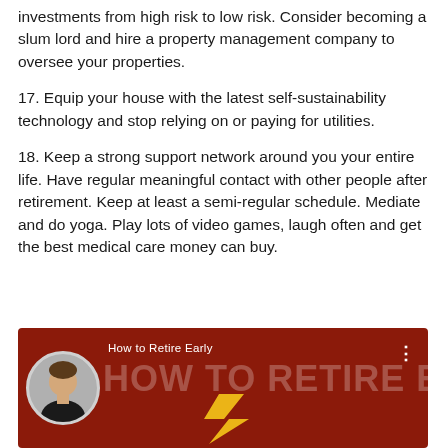investments from high risk to low risk. Consider becoming a slum lord and hire a property management company to oversee your properties.
17. Equip your house with the latest self-sustainability technology and stop relying on or paying for utilities.
18. Keep a strong support network around you your entire life. Have regular meaningful contact with other people after retirement. Keep at least a semi-regular schedule. Mediate and do yoga. Play lots of video games, laugh often and get the best medical care money can buy.
[Figure (screenshot): Video thumbnail with dark red background showing a man's avatar/photo on the left, small text 'How to Retire Early' above large semi-transparent text 'HOW TO RETIRE EARLY', with three dots menu icon top right and a yellow arrow/lightning bolt at the bottom.]